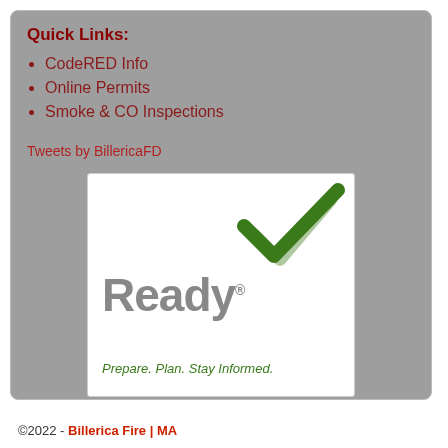Quick Links:
CodeRED Info
Online Permits
Smoke & CO Inspections
Tweets by BillericaFD
[Figure (logo): Ready.gov logo with green checkmark and tagline: Prepare. Plan. Stay Informed.]
©2022 - Billerica Fire | MA